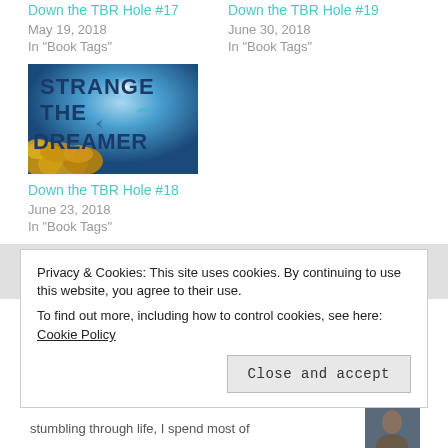Down the TBR Hole #17
May 19, 2018
In "Book Tags"
Down the TBR Hole #19
June 30, 2018
In "Book Tags"
[Figure (illustration): Book cover for 'Strange the Dreamer' with blue and gold design]
Down the TBR Hole #18
June 23, 2018
In "Book Tags"
Tagged down the tbr hole, tbr, to read
Privacy & Cookies: This site uses cookies. By continuing to use this website, you agree to their use.
To find out more, including how to control cookies, see here: Cookie Policy
Close and accept
stumbling through life, I spend most of